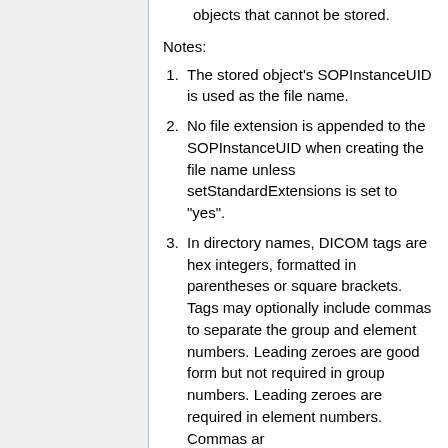objects that cannot be stored.
Notes:
The stored object's SOPInstanceUID is used as the file name.
No file extension is appended to the SOPInstanceUID when creating the file name unless setStandardExtensions is set to "yes".
In directory names, DICOM tags are hex integers, formatted in parentheses or square brackets. Tags may optionally include commas to separate the group and element numbers. Leading zeroes are good form but not required in group numbers. Leading zeroes are required in element numbers. Commas ar...